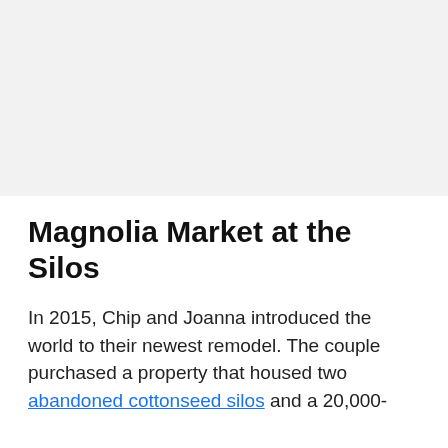[Figure (photo): Large image placeholder area at top of page, light gray background, appears to be a cropped photo region.]
Magnolia Market at the Silos
In 2015, Chip and Joanna introduced the world to their newest remodel. The couple purchased a property that housed two abandoned cottonseed silos and a 20,000-